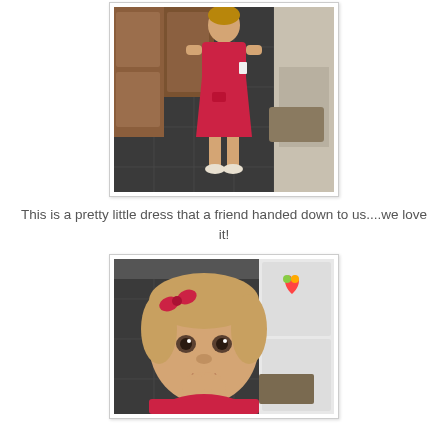[Figure (photo): A young girl wearing a red polka-dot dress and white sandals, standing on a dark tile floor in a kitchen area with wooden cabinets in the background.]
This is a pretty little dress that a friend handed down to us....we love it!
[Figure (photo): A toddler girl with a red bow in her hair, wearing a red dress, looking at the camera with her hand near her mouth. A white refrigerator with a colorful magnet is visible in the background.]